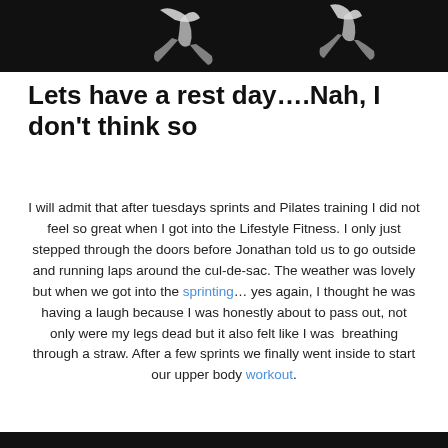[Figure (photo): Black and white photo of a person running/sprinting, cropped at top]
Lets have a rest day….Nah, I don't think so
I will admit that after tuesdays sprints and Pilates training I did not feel so great when I got into the Lifestyle Fitness. I only just stepped through the doors before Jonathan told us to go outside and running laps around the cul-de-sac. The weather was lovely but when we got into the sprinting… yes again, I thought he was having a laugh because I was honestly about to pass out, not only were my legs dead but it also felt like I was  breathing through a straw. After a few sprints we finally went inside to start our upper body workout.